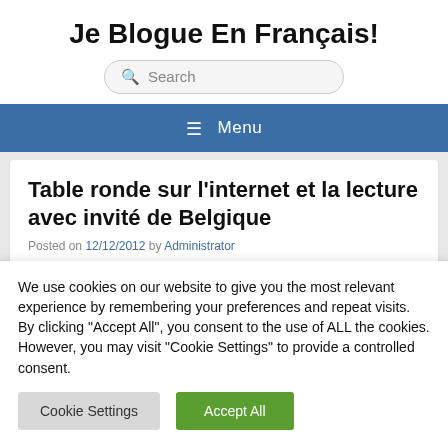Je Blogue En Français!
[Figure (other): Search input box with magnifying glass icon and placeholder text 'Search']
Menu
Table ronde sur l'internet et la lecture avec invité de Belgique
Posted on 12/12/2012 by Administrator
We use cookies on our website to give you the most relevant experience by remembering your preferences and repeat visits. By clicking "Accept All", you consent to the use of ALL the cookies. However, you may visit "Cookie Settings" to provide a controlled consent.
Cookie Settings | Accept All